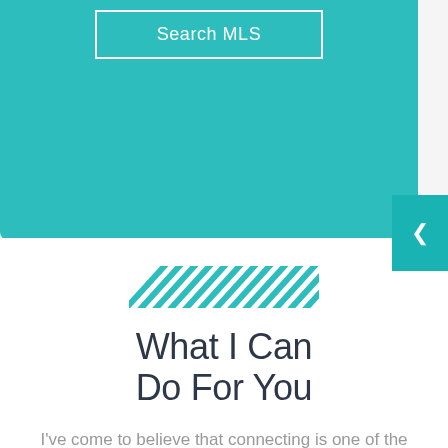[Figure (screenshot): Teal/cyan colored banner with a 'Search MLS' button outlined in white]
[Figure (illustration): Diagonal teal striped decorative lines pattern]
What I Can Do For You
I've come to believe that connecting is one of the most important business—and life—skill sets you'll ever learn.